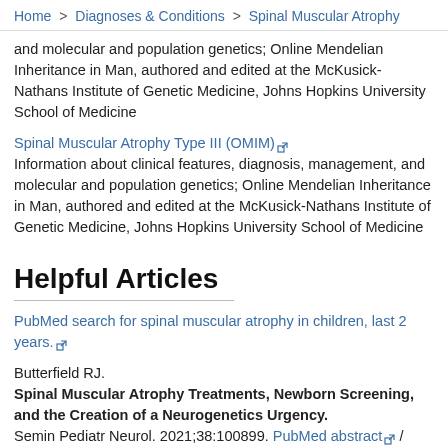Home > Diagnoses & Conditions > Spinal Muscular Atrophy
and molecular and population genetics; Online Mendelian Inheritance in Man, authored and edited at the McKusick-Nathans Institute of Genetic Medicine, Johns Hopkins University School of Medicine
Spinal Muscular Atrophy Type III (OMIM) [external link]
Information about clinical features, diagnosis, management, and molecular and population genetics; Online Mendelian Inheritance in Man, authored and edited at the McKusick-Nathans Institute of Genetic Medicine, Johns Hopkins University School of Medicine
Helpful Articles
PubMed search for spinal muscular atrophy in children, last 2 years. [external link]
Butterfield RJ.
Spinal Muscular Atrophy Treatments, Newborn Screening, and the Creation of a Neurogenetics Urgency.
Semin Pediatr Neurol. 2021;38:100899. PubMed abstract [external link] / Full Text [external link]